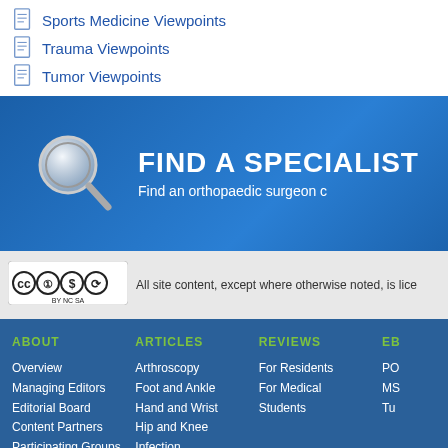Sports Medicine Viewpoints
Trauma Viewpoints
Tumor Viewpoints
[Figure (screenshot): Find a Specialist banner with search icon and text 'Find an orthopaedic surgeon']
[Figure (logo): Creative Commons BY NC SA license badge]
All site content, except where otherwise noted, is lice
ABOUT
Overview
Managing Editors
Editorial Board
Content Partners
Participating Groups
Advisory Board
Sponsors
Press
Contact Us
ARTICLES
Arthroscopy
Foot and Ankle
Hand and Wrist
Hip and Knee
Infection
Joint Reconstruction
MSK Medicine
Pediatrics
Shoulder and Elbow
Spine
Sports Medicine
Trauma
REVIEWS
For Residents
For Medical Students
EB
PO
MS
Tu